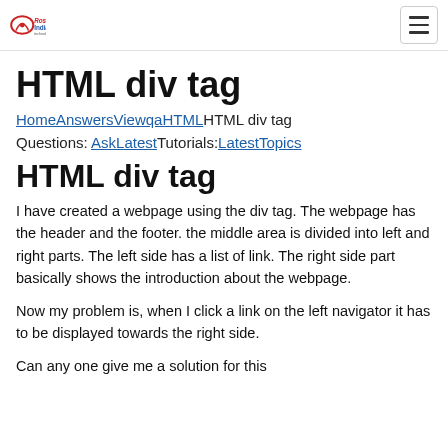Rose India | HTML div tag
HTML div tag
HomeAnswersViewqaHTMLHTML div tag
Questions: AskLatestTutorials:LatestTopics
HTML div tag
I have created a webpage using the div tag. The webpage has the header and the footer. the middle area is divided into left and right parts. The left side has a list of link. The right side part basically shows the introduction about the webpage.
Now my problem is, when I click a link on the left navigator it has to be displayed towards the right side.
Can any one give me a solution for this